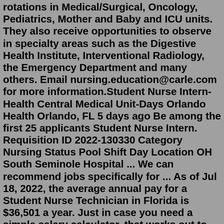rotations in Medical/Surgical, Oncology, Pediatrics, Mother and Baby and ICU units. They also receive opportunities to observe in specialty areas such as the Digestive Health Institute, Interventional Radiology, the Emergency Department and many others. Email nursing.education@carle.com for more information.Student Nurse Intern-Health Central Medical Unit-Days Orlando Health Orlando, FL 5 days ago Be among the first 25 applicants Student Nurse Intern. Requisition ID 2022-130330 Category Nursing Status Pool Shift Day Location OH South Seminole Hospital ... We can recommend jobs specifically for ... As of Jul 18, 2022, the average annual pay for a Student Nurse Technician in Florida is $36,501 a year. Just in case you need a simple salary calculator, that works out to be approximately $17.55 an hour. This is the equivalent of $702/week or $3,042/month. Student Nurse Intern jobs in Bay Lake, FL Filter. Back. What. Where. Search jobs. Back Refine Clear. Sort by Relevance Date Job type Any job type Permanent Full time Listed date Any